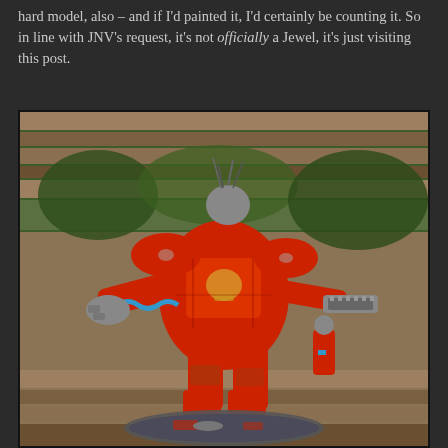hard model, also – and if I'd painted it, I'd certainly be counting it. So in line with JNV's request, it's not officially a Jewel, it's just visiting this post.
[Figure (photo): A painted Warhammer 40K Chaos Knight or similar large mech miniature, predominantly red with skull motifs, corrosion effects, blue coiled tubing on one arm, holding a chainsaw-like weapon. The miniature is posed on a wooden bench/park table background with green foliage visible. Detailed weathering and battle damage on the red armor plates.]